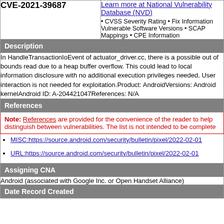| CVE-2021-39687 | Learn more at National Vulnerability Database (NVD) |
| --- | --- |
| Description |  |
| In HandleTransactionIoEvent of actuator_driver.cc, there is a possible out of bounds read due to a heap buffer overflow. This could lead to local information disclosure with no additional execution privileges needed. User interaction is not needed for exploitation.Product: AndroidVersions: Android kernelAndroid ID: A-204421047References: N/A |  |
| References |  |
| Note: References are provided for the convenience of the reader to help distinguish between vulnerabilities. The list is not intended to be complete |  |
| MISC:https://source.android.com/security/bulletin/pixel/2022-02-01
URL:https://source.android.com/security/bulletin/pixel/2022-02-01 |  |
| Assigning CNA |  |
| Android (associated with Google Inc. or Open Handset Alliance) |  |
| Date Record Created |  |